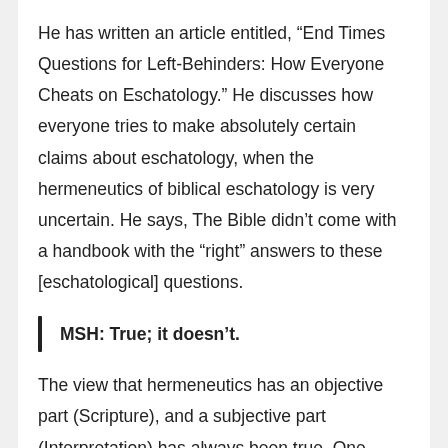He has written an article entitled, “End Times Questions for Left-Behinders: How Everyone Cheats on Eschatology.” He discusses how everyone tries to make absolutely certain claims about eschatology, when the hermeneutics of biblical eschatology is very uncertain. He says, The Bible didn’t come with a handbook with the “right” answers to these [eschatological] questions.
MSH: True; it doesn’t.
The view that hermeneutics has an objective part (Scripture), and a subjective part (Interpretation) has always been true. One definition of hermeneutics is “whose meaning is the meaning of